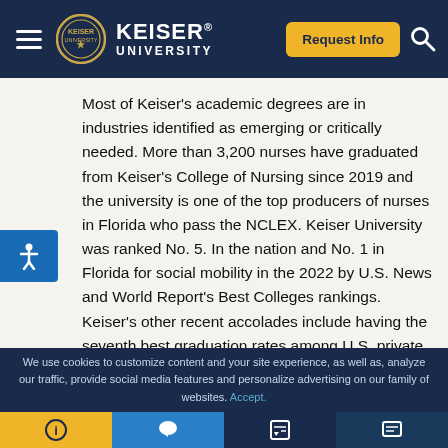Keiser University
Most of Keiser’s academic degrees are in industries identified as emerging or critically needed. More than 3,200 nurses have graduated from Keiser’s College of Nursing since 2019 and the university is one of the top producers of nurses in Florida who pass the NCLEX. Keiser University was ranked No. 5. In the nation and No. 1 in Florida for social mobility in the 2022 by U.S. News and World Report’s Best Colleges rankings. Keiser’s other recent accolades include having the seventh best graduation rates among U.S. private, nonprofit (nonresidential) universities according to The Chronicle of Higher Education and being named the 29th Best Hispanic Serving Institution in the U.S. by Niche.
We use cookies to customize content and your site experience, as well as, analyze our traffic, provide social media features and personalize advertising on our family of websites. Accept.
Navigation icons: info, chat, edit, message